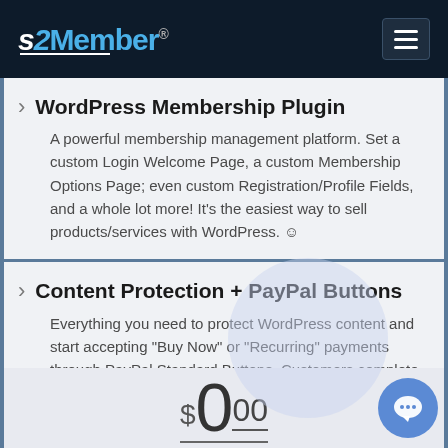s2Member®
WordPress Membership Plugin
A powerful membership management platform. Set a custom Login Welcome Page, a custom Membership Options Page; even custom Registration/Profile Fields, and a whole lot more! It's the easiest way to sell products/services with WordPress. ☺
Content Protection + PayPal Buttons
Everything you need to protect WordPress content and start accepting "Buy Now" or "Recurring" payments through PayPal Standard Buttons. Customers complete checkout at PayPal.com using any major credit card; or their PayPal account balance.
$000